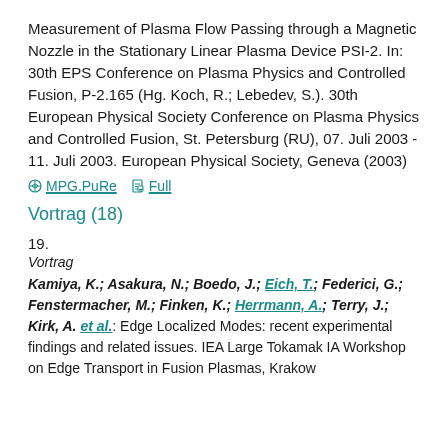Measurement of Plasma Flow Passing through a Magnetic Nozzle in the Stationary Linear Plasma Device PSI-2. In: 30th EPS Conference on Plasma Physics and Controlled Fusion, P-2.165 (Hg. Koch, R.; Lebedev, S.). 30th European Physical Society Conference on Plasma Physics and Controlled Fusion, St. Petersburg (RU), 07. Juli 2003 - 11. Juli 2003. European Physical Society, Geneva (2003)
MPG.PuRe   Full
Vortrag (18)
19.
Vortrag
Kamiya, K.; Asakura, N.; Boedo, J.; Eich, T.; Federici, G.; Fenstermacher, M.; Finken, K.; Herrmann, A.; Terry, J.; Kirk, A. et al.: Edge Localized Modes: recent experimental findings and related issues. IEA Large Tokamak IA Workshop on Edge Transport in Fusion Plasmas, Krakow